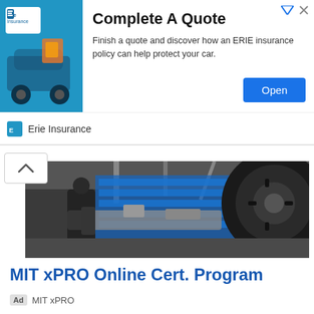[Figure (screenshot): Erie Insurance ad banner with blue logo image on left, headline 'Complete A Quote', body text, and blue Open button. Logo row at bottom with Erie Insurance name.]
[Figure (photo): Photograph of a car being serviced/lifted in an auto shop, viewed from below showing the underside of the vehicle and a wheel.]
MIT xPRO Online Cert. Program
Ad  MIT xPRO